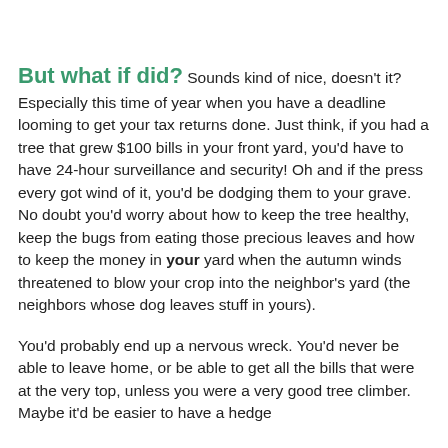But what if did? Sounds kind of nice, doesn't it? Especially this time of year when you have a deadline looming to get your tax returns done. Just think, if you had a tree that grew $100 bills in your front yard, you'd have to have 24-hour surveillance and security! Oh and if the press every got wind of it, you'd be dodging them to your grave. No doubt you'd worry about how to keep the tree healthy, keep the bugs from eating those precious leaves and how to keep the money in your yard when the autumn winds threatened to blow your crop into the neighbor's yard (the neighbors whose dog leaves stuff in yours).
You'd probably end up a nervous wreck. You'd never be able to leave home, or be able to get all the bills that were at the very top, unless you were a very good tree climber. Maybe it'd be easier to have a hedge [continues]